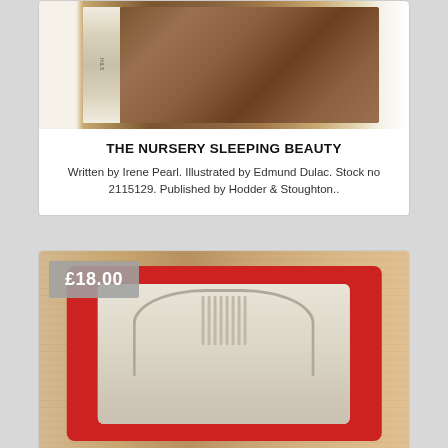[Figure (photo): Photo of a vintage book (The Nursery Sleeping Beauty) shown on its side against a white background, showing the spine and cover]
THE NURSERY SLEEPING BEAUTY
Written by Irene Pearl. Illustrated by Edmund Dulac. Stock no 2115129. Published by Hodder & Stoughton..
[Figure (photo): Photo of a red ceramic dish/ashtray with an illustrated scene of characters, placed on a wooden surface. Price badge shows £18.00]